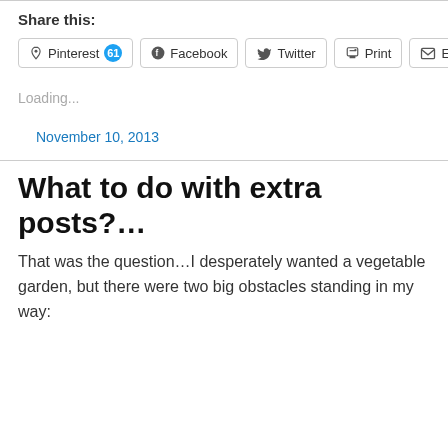Share this:
Pinterest 61 | Facebook | Twitter | Print | Email
Loading...
November 10, 2013
What to do with extra posts?…
That was the question…I desperately wanted a vegetable garden, but there were two big obstacles standing in my way: